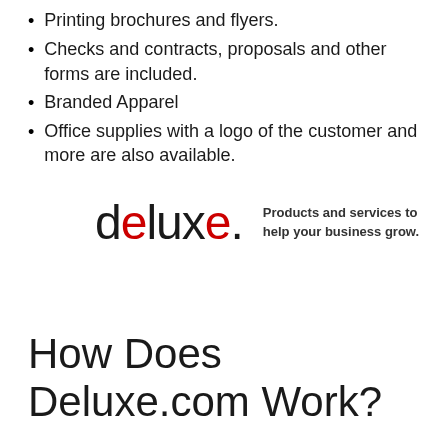Printing brochures and flyers.
Checks and contracts, proposals and other forms are included.
Branded Apparel
Office supplies with a logo of the customer and more are also available.
[Figure (logo): Deluxe logo with tagline: Products and services to help your business grow.]
How Does Deluxe.com Work?